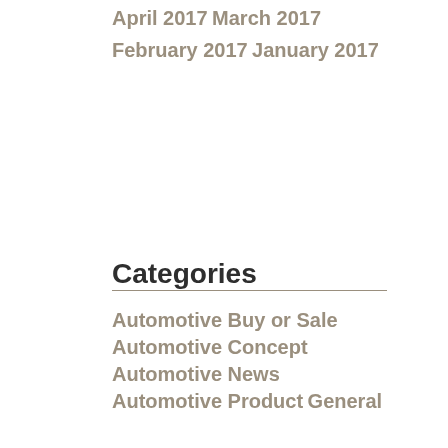April 2017
March 2017
February 2017
January 2017
Categories
Automotive Buy or Sale
Automotive Concept
Automotive News
Automotive Product
General